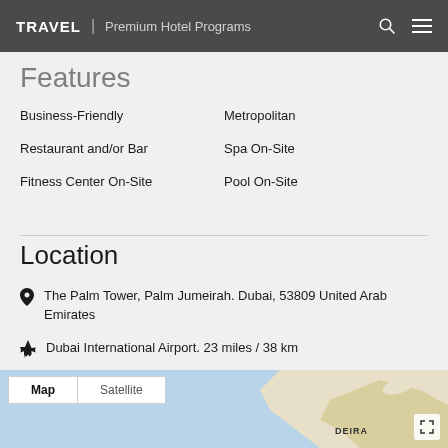TRAVEL | Premium Hotel Programs
Features
Business-Friendly
Metropolitan
Restaurant and/or Bar
Spa On-Site
Fitness Center On-Site
Pool On-Site
Location
The Palm Tower, Palm Jumeirah, Dubai, 53809 United Arab Emirates
Dubai International Airport. 23 miles / 38 km
[Figure (map): Google map preview showing Dubai area with Map/Satellite toggle tabs and expand icon]